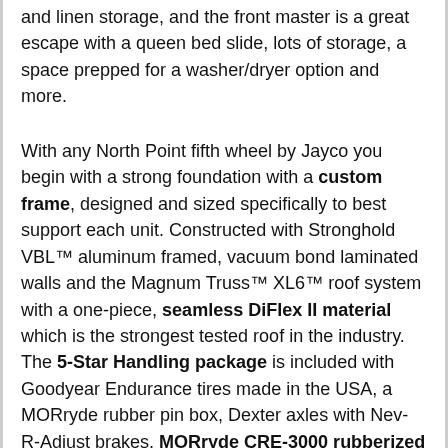and linen storage, and the front master is a great escape with a queen bed slide, lots of storage, a space prepped for a washer/dryer option and more.
With any North Point fifth wheel by Jayco you begin with a strong foundation with a custom frame, designed and sized specifically to best support each unit. Constructed with Stronghold VBL™ aluminum framed, vacuum bond laminated walls and the Magnum Truss™ XL6™ roof system with a one-piece, seamless DiFlex II material which is the strongest tested roof in the industry. The 5-Star Handling package is included with Goodyear Endurance tires made in the USA, a MORryde rubber pin box, Dexter axles with Nev-R-Adjust brakes, MORryde CRE-3000 rubberized suspension and wet bolt fasteners and bronze bushings. The interior has handcrafted hardwood glazed doors,